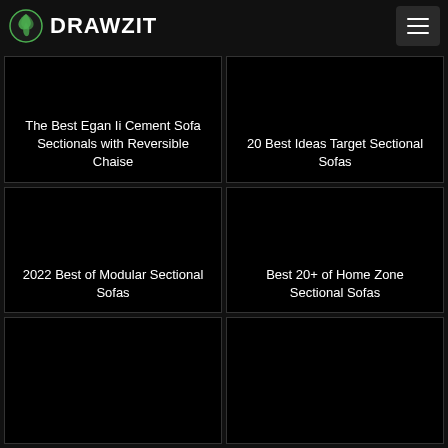DRAWZIT
[Figure (screenshot): Dark card with text: The Best Egan Ii Cement Sofa Sectionals with Reversible Chaise]
[Figure (screenshot): Dark card with text: 20 Best Ideas Target Sectional Sofas]
[Figure (screenshot): Dark card with text: 2022 Best of Modular Sectional Sofas]
[Figure (screenshot): Dark card with text: Best 20+ of Home Zone Sectional Sofas]
[Figure (screenshot): Dark card (partial, bottom row left)]
[Figure (screenshot): Dark card (partial, bottom row right)]